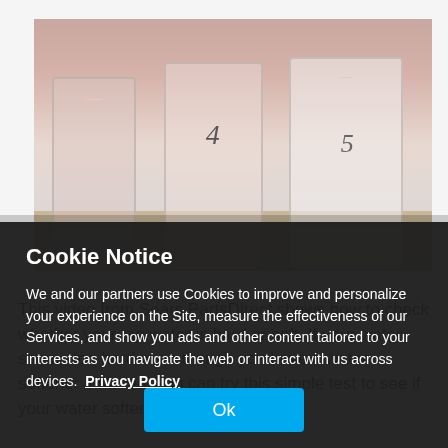[Figure (photo): Photo of three numbered test cups/vials (labeled 4 and 5 visible) with liquid, used to demonstrate a water hardness test.]
This video from Sears PartsDirect shows how to check whether your tap water is hard or soft. If your water seems too hard even though you have a water softener installed, you can try this simple test to see if your water softener has a
Cookie Notice
We and our partners use Cookies to improve and personalize your experience on the Site, measure the effectiveness of our Services, and show you ads and other content tailored to your interests as you navigate the web or interact with us across devices.  Privacy Policy